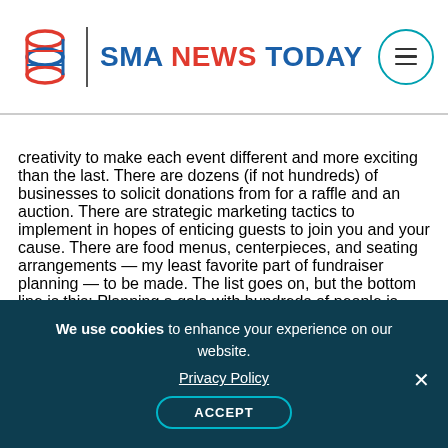SMA NEWS TODAY
creativity to make each event different and more exciting than the last. There are dozens (if not hundreds) of businesses to solicit donations from for a raffle and an auction. There are strategic marketing tactics to implement in hopes of enticing guests to join you and your cause. There are food menus, centerpieces, and seating arrangements — my least favorite part of fundraiser planning — to be made. The list goes on, but the bottom line is this: Planning a gala with hundreds of people is challenging.
We use cookies to enhance your experience on our website. Privacy Policy ACCEPT